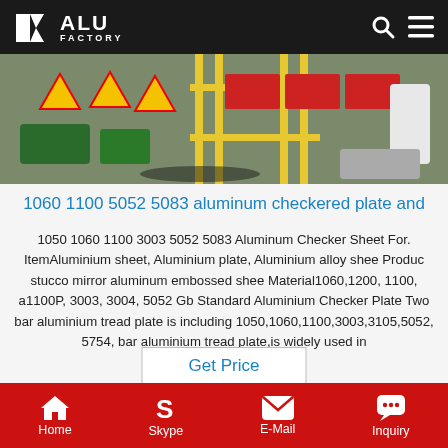ALU FACTORY
[Figure (photo): Warehouse interior with safety signs, yellow scaffolding, and industrial equipment]
1060 1100 5052 5083 aluminum checkered plate and
1050 1060 1100 3003 5052 5083 Aluminum Checker Sheet For. ItemAluminium sheet, Aluminium plate, Aluminium alloy shee Produc stucco mirror aluminum embossed shee Material1060,1200, 1100, a1100P, 3003, 3004, 5052 Gb Standard Aluminium Checker Plate Two bar aluminium tread plate is including 1050,1060,1100,3003,3105,5052, 5754, bar aluminium tread plate,is widely used in
Get Price
[Figure (photo): Bottom warehouse photo showing aluminum rolls/coils]
Home  Skype  E-Mail  Inquiry